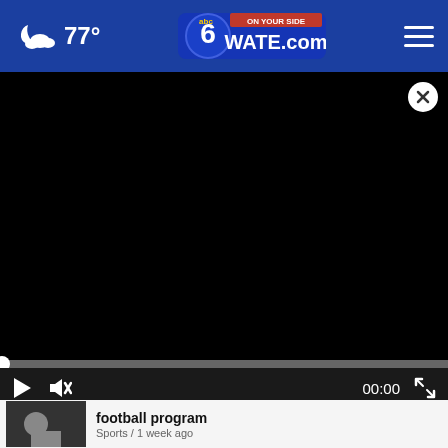77° WATE.com
[Figure (screenshot): Black video player frame with close button (X), progress bar, play button, mute button, timestamp 00:00, and fullscreen button]
Campbell County Sheriff answers...
[Figure (photo): Thumbnail image of person in sports setting]
football program
Sports / 1 week ago